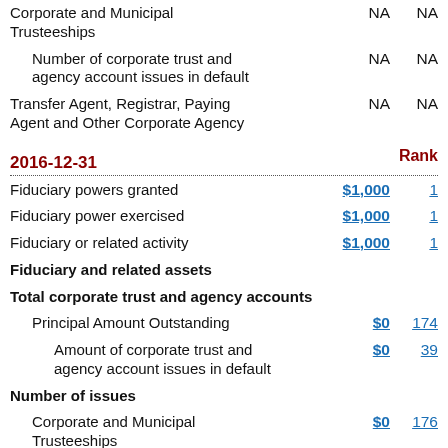Corporate and Municipal Trusteeships — NA NA
Number of corporate trust and agency account issues in default — NA NA
Transfer Agent, Registrar, Paying Agent and Other Corporate Agency — NA NA
2016-12-31   Rank
Fiduciary powers granted $1,000 1
Fiduciary power exercised $1,000 1
Fiduciary or related activity $1,000 1
Fiduciary and related assets
Total corporate trust and agency accounts
Principal Amount Outstanding $0 174
Amount of corporate trust and agency account issues in default $0 39
Number of issues
Corporate and Municipal Trusteeships $0 176
Number of corporate trust and agency account issues in default $0 40
Transfer Agent, Registrar, Paying ...